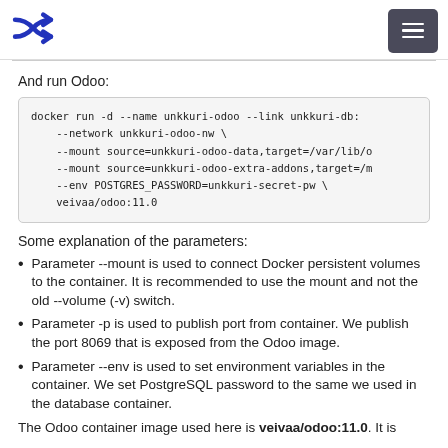[logo] [menu button]
And run Odoo:
docker run -d --name unkkuri-odoo --link unkkuri-db:
    --network unkkuri-odoo-nw \
    --mount source=unkkuri-odoo-data,target=/var/lib/o
    --mount source=unkkuri-odoo-extra-addons,target=/m
    --env POSTGRES_PASSWORD=unkkuri-secret-pw \
    veivaa/odoo:11.0
Some explanation of the parameters:
Parameter --mount is used to connect Docker persistent volumes to the container. It is recommended to use the mount and not the old --volume (-v) switch.
Parameter -p is used to publish port from container. We publish the port 8069 that is exposed from the Odoo image.
Parameter --env is used to set environment variables in the container. We set PostgreSQL password to the same we used in the database container.
The Odoo container image used here is veivaa/odoo:11.0. It is